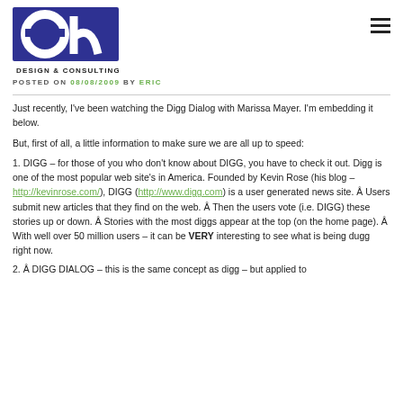[Figure (logo): eh Design & Consulting logo — blue rectangle with stylized 'eh' letters in white, with 'DESIGN & CONSULTING' text below]
POSTED ON 08/08/2009 BY ERIC
Just recently, I've been watching the Digg Dialog with Marissa Mayer. I'm embedding it below.
But, first of all, a little information to make sure we are all up to speed:
1. DIGG – for those of you who don't know about DIGG, you have to check it out. Digg is one of the most popular web site's in America. Founded by Kevin Rose (his blog – http://kevinrose.com/), DIGG (http://www.digg.com) is a user generated news site. Â Users submit new articles that they find on the web. Â Then the users vote (i.e. DIGG) these stories up or down. Â Stories with the most diggs appear at the top (on the home page). Â With well over 50 million users – it can be VERY interesting to see what is being dugg right now.
2. Â DIGG DIALOG – this is the same concept as digg – but applied to